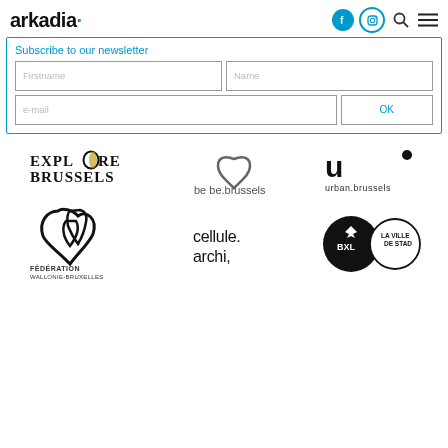arkadia · [social icons] [search] [menu]
Subscribe to our newsletter
Firstname | Name
e-mail | OK
[Figure (logo): Explore Brussels logo]
[Figure (logo): be be.brussels logo]
[Figure (logo): urban.brussels logo]
[Figure (logo): Fédération Wallonie-Bruxelles logo]
[Figure (logo): cellule.archi, logo]
[Figure (logo): BXL La Ville De Stad logo]